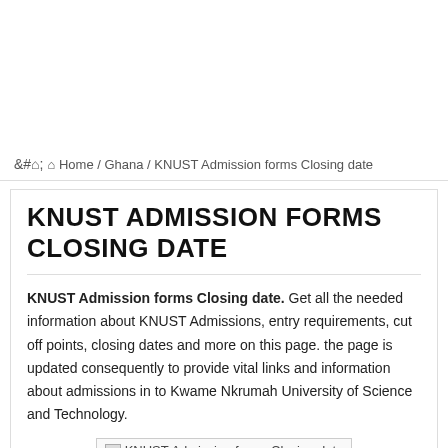Home / Ghana / KNUST Admission forms Closing date
KNUST ADMISSION FORMS CLOSING DATE
KNUST Admission forms Closing date. Get all the needed information about KNUST Admissions, entry requirements, cut off points, closing dates and more on this page. the page is updated consequently to provide vital links and information about admissions in to Kwame Nkrumah University of Science and Technology.
[Figure (photo): Broken image placeholder labeled: KNUST Admission forms Closing date]
KNUST Admission forms